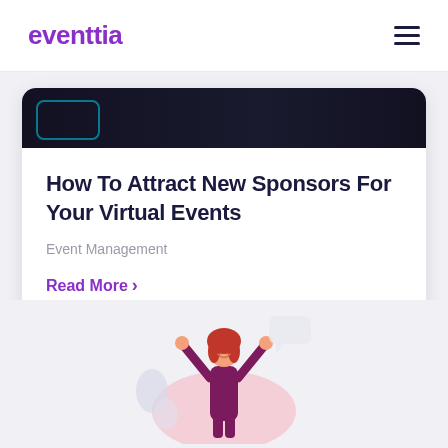eventtia
[Figure (screenshot): Dark banner image strip at top of article card with teal accent border detail]
How To Attract New Sponsors For Your Virtual Events
Event Management
Read More ›
[Figure (illustration): Celebratory person with arms raised, red hair, wearing dark outfit, with pink circular backdrop and speech bubble shapes]